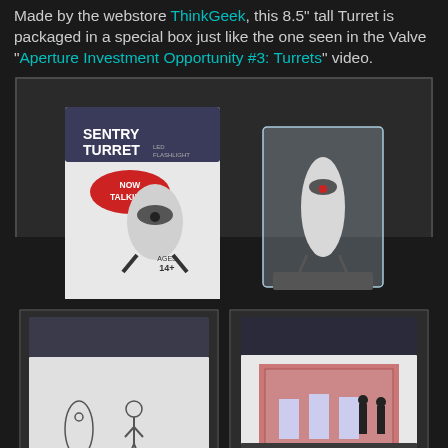Made by the webstore ThinkGeek, this 8.5" tall Turret is packaged in a special box just like the one seen in the Valve "Aperture Investment Opportunity #3: Turrets" video.
[Figure (photo): Photo of Sentry Turret LED Flashlight product in box labeled 'SENTRY TURRET LED FLASHLIGHT NOW TALKING! AGES 14+' next to the unpacked turret figure in a clear display stand on a dark surface.]
[Figure (photo): Close-up photo of the front/side panel of the Sentry Turret box showing Aperture logo and blue button graphic with turret outline drawings.]
[Figure (photo): Close-up photo of the back panel of the Sentry Turret box showing an image of the Aperture Investment Opportunity video scene with turrets in a showroom.]